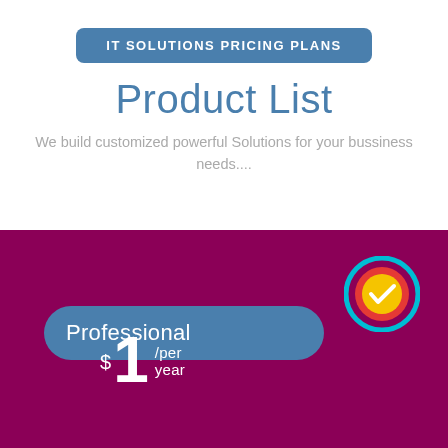IT SOLUTIONS PRICING PLANS
Product List
We build customized powerful Solutions for your bussiness needs....
Professional
$1 /per year